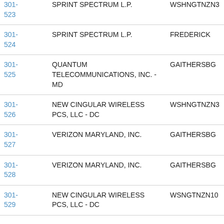| Number | Name | City |
| --- | --- | --- |
| 301-523 | SPRINT SPECTRUM L.P. | WSHNGTNZN3 |
| 301-524 | SPRINT SPECTRUM L.P. | FREDERICK |
| 301-525 | QUANTUM TELECOMMUNICATIONS, INC. - MD | GAITHERSBG |
| 301-526 | NEW CINGULAR WIRELESS PCS, LLC - DC | WSHNGTNZN3 |
| 301-527 | VERIZON MARYLAND, INC. | GAITHERSBG |
| 301-528 | VERIZON MARYLAND, INC. | GAITHERSBG |
| 301-529 | NEW CINGULAR WIRELESS PCS, LLC - DC | WSNGTNZN10 |